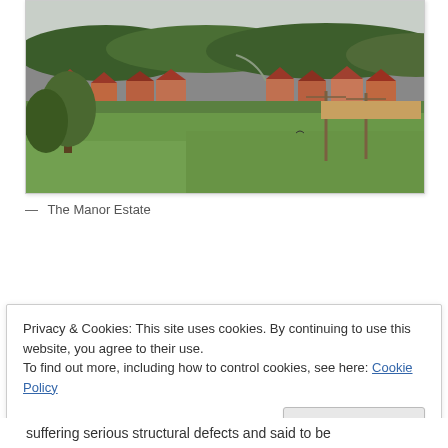[Figure (photo): Aerial/elevated view of the Manor Estate showing rows of brick houses with red/terracotta roofs, green fields in the foreground, trees and rolling hills in the background.]
— The Manor Estate
Privacy & Cookies: This site uses cookies. By continuing to use this website, you agree to their use.
To find out more, including how to control cookies, see here: Cookie Policy

Close and accept
suffering serious structural defects and said to be